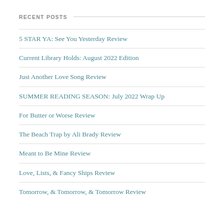RECENT POSTS
5 STAR YA: See You Yesterday Review
Current Library Holds: August 2022 Edition
Just Another Love Song Review
SUMMER READING SEASON: July 2022 Wrap Up
For Butter or Worse Review
The Beach Trap by Ali Brady Review
Meant to Be Mine Review
Love, Lists, & Fancy Ships Review
Tomorrow, & Tomorrow, & Tomorrow Review